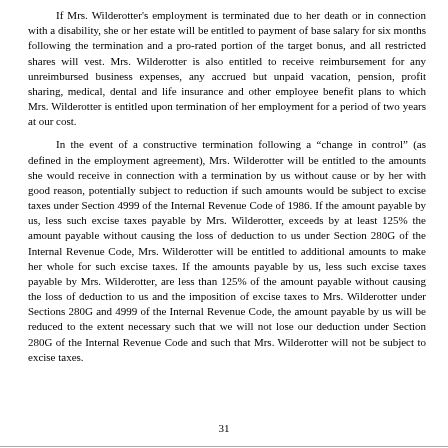If Mrs. Wilderotter's employment is terminated due to her death or in connection with a disability, she or her estate will be entitled to payment of base salary for six months following the termination and a pro-rated portion of the target bonus, and all restricted shares will vest. Mrs. Wilderotter is also entitled to receive reimbursement for any unreimbursed business expenses, any accrued but unpaid vacation, pension, profit sharing, medical, dental and life insurance and other employee benefit plans to which Mrs. Wilderotter is entitled upon termination of her employment for a period of two years at our cost.
In the event of a constructive termination following a “change in control” (as defined in the employment agreement), Mrs. Wilderotter will be entitled to the amounts she would receive in connection with a termination by us without cause or by her with good reason, potentially subject to reduction if such amounts would be subject to excise taxes under Section 4999 of the Internal Revenue Code of 1986. If the amount payable by us, less such excise taxes payable by Mrs. Wilderotter, exceeds by at least 125% the amount payable without causing the loss of deduction to us under Section 280G of the Internal Revenue Code, Mrs. Wilderotter will be entitled to additional amounts to make her whole for such excise taxes. If the amounts payable by us, less such excise taxes payable by Mrs. Wilderotter, are less than 125% of the amount payable without causing the loss of deduction to us and the imposition of excise taxes to Mrs. Wilderotter under Sections 280G and 4999 of the Internal Revenue Code, the amount payable by us will be reduced to the extent necessary such that we will not lose our deduction under Section 280G of the Internal Revenue Code and such that Mrs. Wilderotter will not be subject to excise taxes.
31